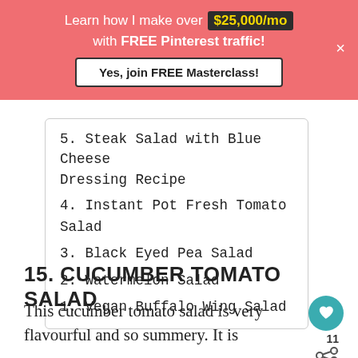[Figure (infographic): Pink promotional banner: 'Learn how I make over $25,000/mo with FREE Pinterest traffic!' with a white button 'Yes, join FREE Masterclass!' and a close X button]
5. Steak Salad with Blue Cheese Dressing Recipe
4. Instant Pot Fresh Tomato Salad
3. Black Eyed Pea Salad
2. Watermelon Salad
1. Vegan Buffalo Wing Salad
15. CUCUMBER TOMATO SALAD
This cucumber tomato salad is very flavourful and so summery. It is